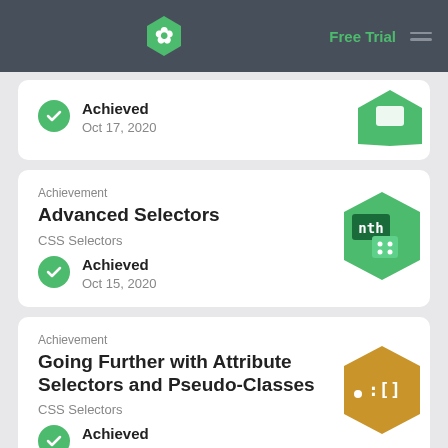Free Trial
Achieved
Oct 17, 2020
Achievement
Advanced Selectors
CSS Selectors
Achieved
Oct 15, 2020
Achievement
Going Further with Attribute Selectors and Pseudo-Classes
CSS Selectors
Achieved